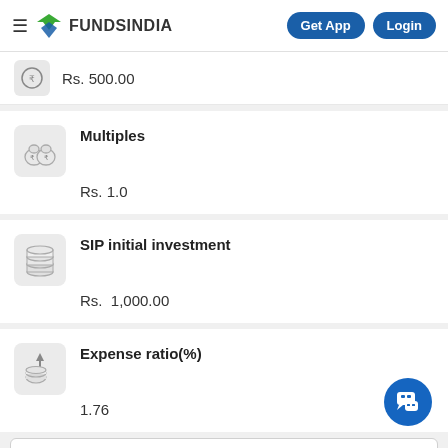FundsIndia — Get App | Login
Rs. 500.00
Multiples
Rs. 1.0
SIP initial investment
Rs.  1,000.00
Expense ratio(%)
1.76
Disclaimer:
All efforts have been made to ensure the information provided here is accurate. However, no guarantees are made regarding correctness of data. Please verify with scheme information document before making any investment.